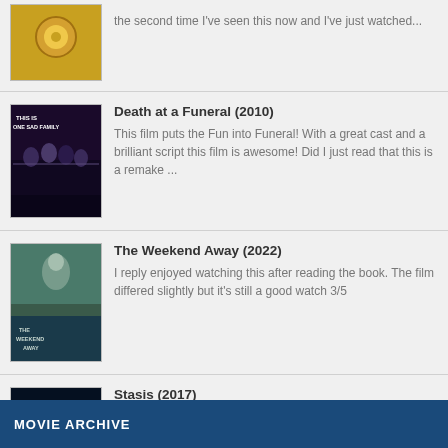[Figure (photo): Movie poster for an unspecified film showing a donut character (partially visible)]
the second time I've seen this now and I've just watched...
[Figure (photo): Movie poster for Death at a Funeral (2010) showing cast with text THIS IS ONE SAD FAMILY]
Death at a Funeral (2010)
This film puts the Fun into Funeral! With a great cast and a brilliant script this film is awesome! Did I just read that this is a remake ...
[Figure (photo): Movie poster for The Weekend Away (2022) showing a woman with text THE WEEKEND AWAY]
The Weekend Away (2022)
I reply enjoyed watching this after reading the book. The film differed slightly but it's still a good watch 3/5
[Figure (photo): Movie poster for Stasis (2017) showing a glowing figure with text STASIS]
Stasis (2017)
Awful 1/5
MOVIE ARCHIVE